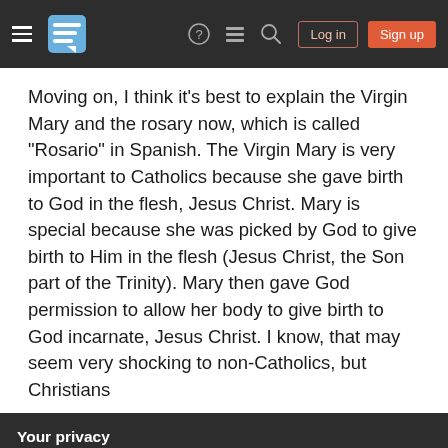Stack Exchange navigation bar with hamburger menu, logo, question mark, comments, search icons, Log in and Sign up buttons
Moving on, I think it's best to explain the Virgin Mary and the rosary now, which is called "Rosario" in Spanish. The Virgin Mary is very important to Catholics because she gave birth to God in the flesh, Jesus Christ. Mary is special because she was picked by God to give birth to Him in the flesh (Jesus Christ, the Son part of the Trinity). Mary then gave God permission to allow her body to give birth to God incarnate, Jesus Christ. I know, that may seem very shocking to non-Catholics, but Christians
Your privacy
By clicking "Accept all cookies", you agree Stack Exchange can store cookies on your device and disclose information in accordance with our Cookie Policy.
Christianity is to help guide all Christians towards